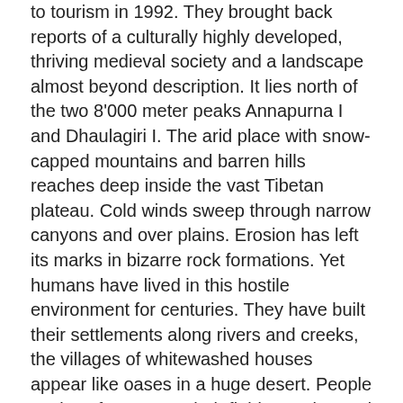to tourism in 1992. They brought back reports of a culturally highly developed, thriving medieval society and a landscape almost beyond description. It lies north of the two 8'000 meter peaks Annapurna I and Dhaulagiri I. The arid place with snow-capped mountains and barren hills reaches deep inside the vast Tibetan plateau. Cold winds sweep through narrow canyons and over plains. Erosion has left its marks in bizarre rock formations. Yet humans have lived in this hostile environment for centuries. They have built their settlements along rivers and creeks, the villages of whitewashed houses appear like oases in a huge desert. People work as farmers on their fields, sowing and harvesting barley and potatoes, and driving cattle to relatively fertile meadows. High up in vertical cliffs are inaccessible caves where people dwelled two thousand years ago. Much later the region came under the influence of the Tibetan Yarlung dynasty. In the 15th century the independent kingdom of Lo was founded by Ame Pal, whose invitation of the famous Buddhist scholar Ngorchen Künga Zangpo led to a cultural zenith never to